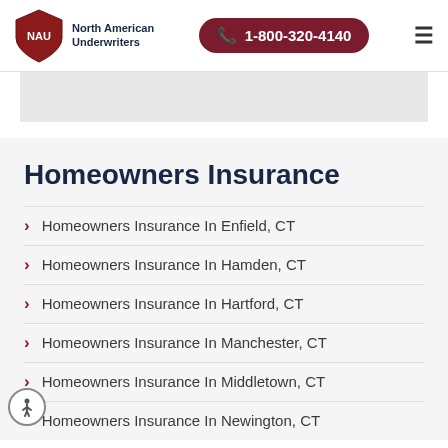North American Underwriters | 1-800-320-4140
Homeowners Insurance
Homeowners Insurance In Enfield, CT
Homeowners Insurance In Hamden, CT
Homeowners Insurance In Hartford, CT
Homeowners Insurance In Manchester, CT
Homeowners Insurance In Middletown, CT
Homeowners Insurance In Newington, CT